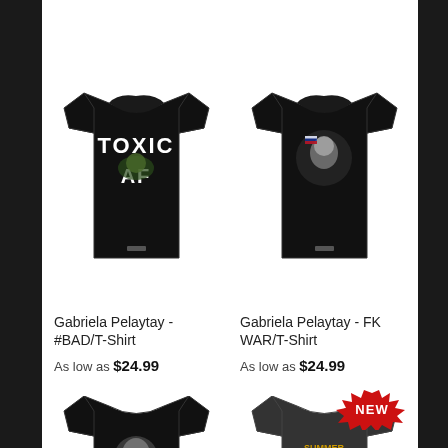[Figure (photo): Black t-shirt with 'TOXIC AF' text and character graphic]
[Figure (photo): Black t-shirt with action character graphic holding gun]
Gabriela Pelaytay - #BAD/T-Shirt
As low as $24.99
Gabriela Pelaytay - FK WAR/T-Shirt
As low as $24.99
[Figure (photo): Black t-shirt with skull/cat character graphic]
[Figure (photo): Dark grey t-shirt with small chest logo graphic, NEW badge]
[Figure (infographic): NEW badge with flame graphic in red]